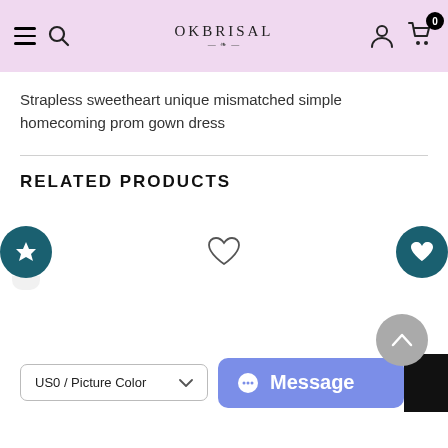OkBrisal — navigation header with hamburger menu, search, logo, account, and cart (0 items)
Strapless sweetheart unique mismatched simple homecoming prom gown dress
RELATED PRODUCTS
[Figure (screenshot): Related products carousel area with star/favorite icon buttons, a center heart outline icon, a back-to-top arrow button, product size selector dropdown (US0 / Picture Color), a Message chat button, and a partial black panel.]